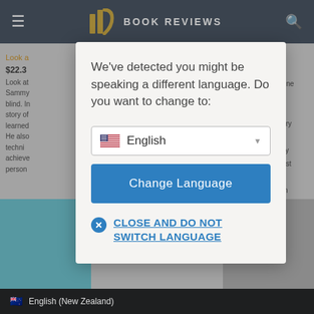BOOK REVIEWS
Look a... $22.3 Look at Sammy blind. In story of learned He also techni achieve person...
[Figure (screenshot): Language selection modal dialog over a book review website. The modal contains a prompt 'We've detected you might be speaking a different language. Do you want to change to:', a dropdown showing 'English' with US flag, a blue 'Change Language' button, and a 'CLOSE AND DO NOT SWITCH LANGUAGE' link. Background shows the Book Reviews website header and partial content.]
We've detected you might be speaking a different language. Do you want to change to:
English
Change Language
CLOSE AND DO NOT SWITCH LANGUAGE
English (New Zealand)